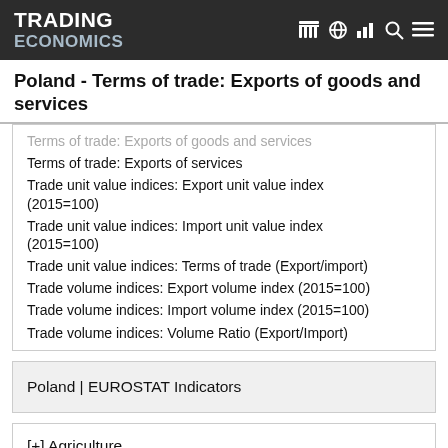TRADING ECONOMICS
Poland - Terms of trade: Exports of goods and services
Terms of trade: Exports of goods and services
Terms of trade: Exports of services
Trade unit value indices: Export unit value index (2015=100)
Trade unit value indices: Import unit value index (2015=100)
Trade unit value indices: Terms of trade (Export/import)
Trade volume indices: Export volume index (2015=100)
Trade volume indices: Import volume index (2015=100)
Trade volume indices: Volume Ratio (Export/Import)
Poland | EUROSTAT Indicators
[+] Agriculture